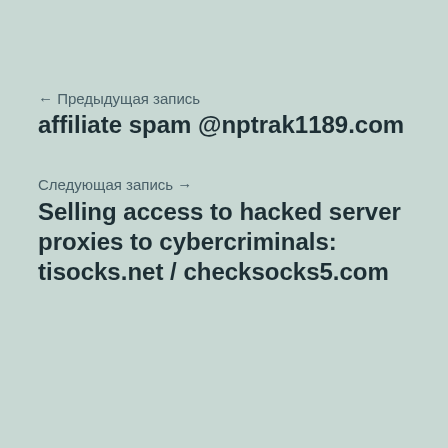← Предыдущая запись
affiliate spam @nptrak1189.com
Следующая запись →
Selling access to hacked server proxies to cybercriminals: tisocks.net / checksocks5.com